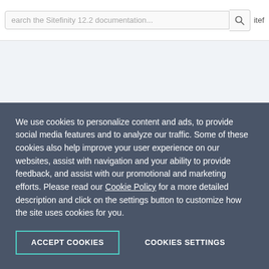Search the Sitefinity 12.2 documentation...
NOTE from a
The foll
| 1 | u |
| 2 | u |
We use cookies to personalize content and ads, to provide social media features and to analyze our traffic. Some of these cookies also help improve your user experience on our websites, assist with navigation and your ability to provide feedback, and assist with our promotional and marketing efforts. Please read our Cookie Policy for a more detailed description and click on the settings button to customize how the site uses cookies for you.
ACCEPT COOKIES
COOKIES SETTINGS